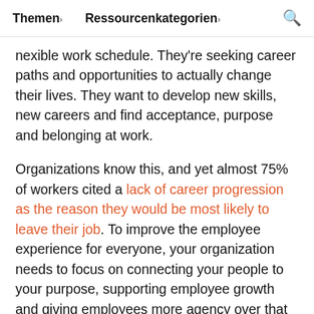Themen ▾    Ressourcenkategorien ▾    🔍
nexible work schedule. They're seeking career paths and opportunities to actually change their lives. They want to develop new skills, new careers and find acceptance, purpose and belonging at work.
Organizations know this, and yet almost 75% of workers cited a lack of career progression as the reason they would be most likely to leave their job. To improve the employee experience for everyone, your organization needs to focus on connecting your people to your purpose, supporting employee growth and giving employees more agency over that growth.